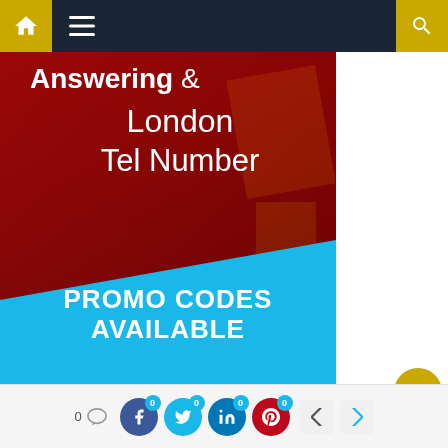[Figure (screenshot): Website screenshot showing navigation bar with home and menu icons, a banner image with red background showing 'Answering & London Tel Number' text in white, a blue section below with 'PROMO CODES AVAILABLE CLICK HERE' in bold white text, a white right panel, a bottom social sharing bar with Facebook, Twitter, LinkedIn, Pinterest icons each with badge showing 0, comment area showing 0, and navigation arrows.]